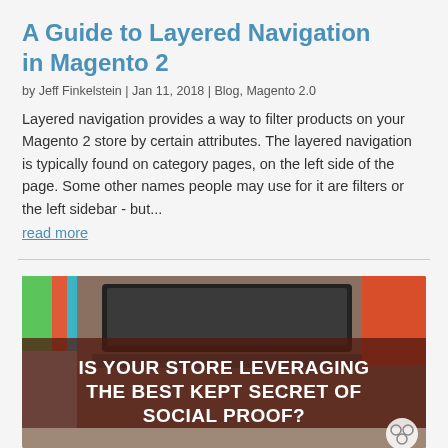A Guide to Layered Navigation in Magento 2
by Jeff Finkelstein | Jan 11, 2018 | Blog, Magento 2.0
Layered navigation provides a way to filter products on your Magento 2 store by certain attributes. The layered navigation is typically found on category pages, on the left side of the page. Some other names people may use for it are filters or the left sidebar - but...
read more
[Figure (photo): Banner image showing a laptop on a desk with colorful folders, overlaid with bold white text on a dark brownish-red background reading: IS YOUR STORE LEVERAGING THE BEST KEPT SECRET OF SOCIAL PROOF? A circular logo icon appears in the bottom right corner.]